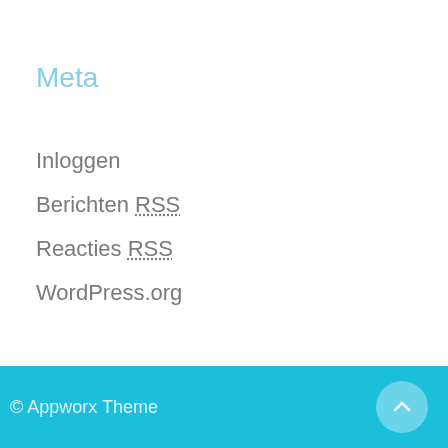Meta
Inloggen
Berichten RSS
Reacties RSS
WordPress.org
© Appworx Theme